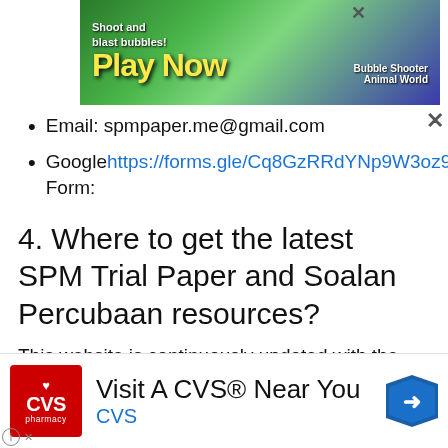[Figure (screenshot): Top advertisement banner showing a colorful bubble shooter game with 'Play Now' text and cartoon animals]
Email: spmpaper.me@gmail.com
Google Form: https://forms.gle/Cq8GzRRdYNp9W3oz9
4. Where to get the latest SPM Trial Paper and Soalan Percubaan resources?
This website is continuously updated with the latest SPM Trial Papers and Soalan Percubaan SPM from 2011-2019. Also we share the latest tips regularly on Facebook. Please like our
[Figure (screenshot): Bottom advertisement banner for CVS Pharmacy: 'Visit A CVS® Near You' with CVS logo and navigation arrow icon]